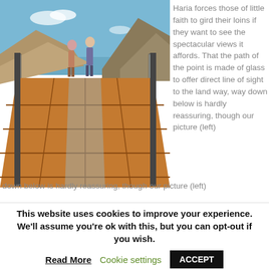[Figure (photo): A glass walkway/bridge with wooden-plank-style flooring extending into the distance at a high elevation, with two people walking on it, mountains and blue sky/ocean visible in the background.]
Haria forces those of little faith to gird their loins if they want to see the spectacular views it affords. That the path of the point is made of glass to offer direct line of sight to the land way, way down below is hardly reassuring, though our picture (left)
This website uses cookies to improve your experience. We'll assume you're ok with this, but you can opt-out if you wish.
Read More
Cookie settings
ACCEPT